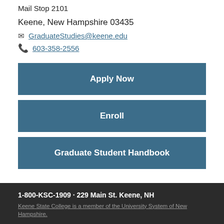Mail Stop 2701
Keene, New Hampshire 03435
GraduateStudies@keene.edu
603-358-2556
Apply Now
Enroll
Graduate Student Handbook
1-800-KSC-1909 · 229 Main St. Keene, NH
Keene State College is a member of the University System of New Hampshire.